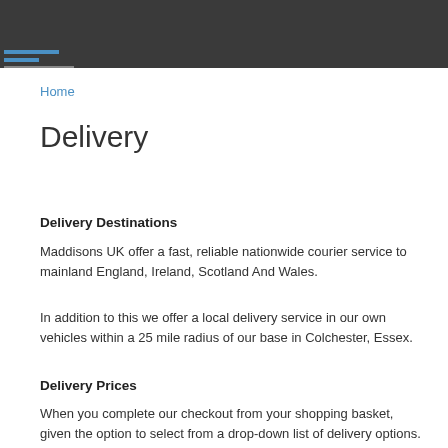UA-15143931-3
Home
Delivery
Delivery Destinations
Maddisons UK offer a fast, reliable nationwide courier service to mainland England, Ireland, Scotland And Wales.
In addition to this we offer a local delivery service in our own vehicles within a 25 mile radius of our base in Colchester, Essex.
Delivery Prices
When you complete our checkout from your shopping basket, given the option to select from a drop-down list of delivery options.